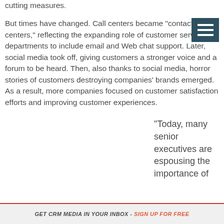cutting measures.
But times have changed. Call centers became "contact centers," reflecting the expanding role of customer service departments to include email and Web chat support. Later, social media took off, giving customers a stronger voice and a forum to be heard. Then, also thanks to social media, horror stories of customers destroying companies' brands emerged. As a result, more companies focused on customer satisfaction efforts and improving customer experiences.
"Today, many senior executives are espousing the importance of
GET CRM MEDIA IN YOUR INBOX - SIGN UP FOR FREE